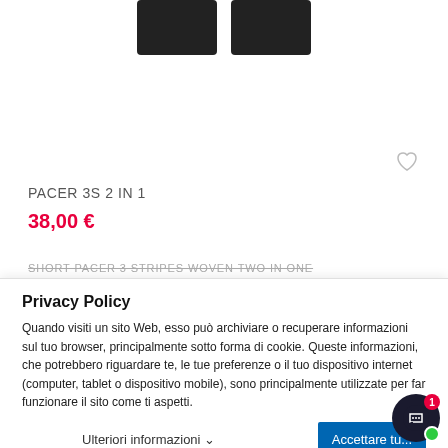[Figure (photo): Two black athletic shorts product images shown at the top of the page]
[Figure (other): Heart/wishlist icon outline in light gray]
PACER 3S 2 IN 1
38,00 €
SHORT PACER 3 STRIPES WOVEN TWO IN ONE
Privacy Policy
Quando visiti un sito Web, esso può archiviare o recuperare informazioni sul tuo browser, principalmente sotto forma di cookie. Queste informazioni, che potrebbero riguardare te, le tue preferenze o il tuo dispositivo internet (computer, tablet o dispositivo mobile), sono principalmente utilizzate per far funzionare il sito come ti aspetti.
Ulteriori informazioni ▾
Accettare tu...